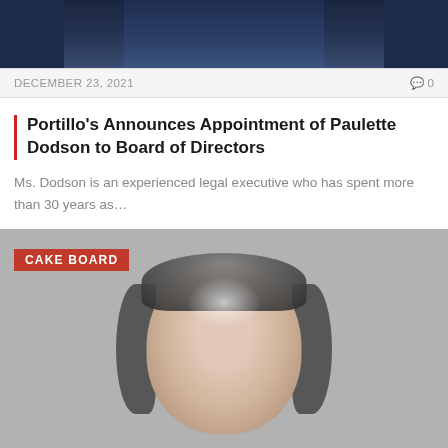[Figure (photo): Partial view of a person in a dark blue outfit against a blurred background, cropped at top of page]
DECEMBER 23, 2021
0
Portillo’s Announces Appointment of Paulette Dodson to Board of Directors
Ms. Dodson is an experienced legal executive who has spent more than 30 years as…
[Figure (photo): Close-up photo of a man’s head (bald top with grey hair on sides) against a grey background, with a red CAKE BOARD label overlay]